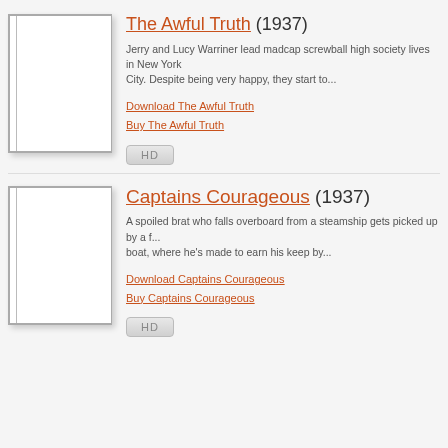The Awful Truth (1937)
Jerry and Lucy Warriner lead madcap screwball high society lives in New York City. Despite being very happy, they start to...
Download The Awful Truth
Buy The Awful Truth
[Figure (other): HD badge button]
Captains Courageous (1937)
A spoiled brat who falls overboard from a steamship gets picked up by a fishing boat, where he's made to earn his keep by...
Download Captains Courageous
Buy Captains Courageous
[Figure (other): HD badge button]